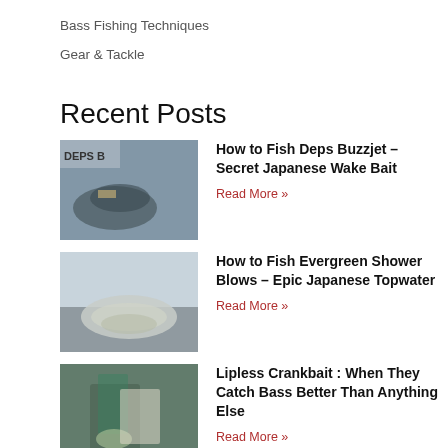Bass Fishing Techniques
Gear & Tackle
Recent Posts
[Figure (photo): Photo of a bass fish being held near water with DEPS B text visible]
How to Fish Deps Buzzjet – Secret Japanese Wake Bait
Read More »
[Figure (photo): Photo of a silvery bass fish]
How to Fish Evergreen Shower Blows – Epic Japanese Topwater
Read More »
[Figure (photo): Photo of person holding a fishing lure/crankbait]
Lipless Crankbait : When They Catch Bass Better Than Anything Else
Read More »